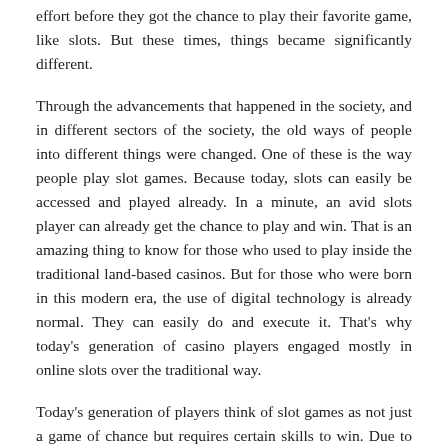effort before they got the chance to play their favorite game, like slots. But these times, things became significantly different.
Through the advancements that happened in the society, and in different sectors of the society, the old ways of people into different things were changed. One of these is the way people play slot games. Because today, slots can easily be accessed and played already. In a minute, an avid slots player can already get the chance to play and win. That is an amazing thing to know for those who used to play inside the traditional land-based casinos. But for those who were born in this modern era, the use of digital technology is already normal. They can easily do and execute it. That's why today's generation of casino players engaged mostly in online slots over the traditional way.
Today's generation of players think of slot games as not just a game of chance but requires certain skills to win. Due to the significant changes over the years that passed, slot games have become significant to the new players. There are those serious and